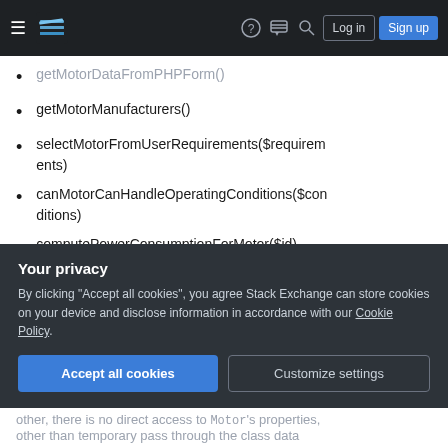Stack Exchange navigation bar with hamburger menu, logo, help, chat, search icons, Log in and Sign up buttons
getMotorDataFromPHPForm()
getMotorManufacturers()
selectMotorFromUserRequirements($requirements)
canMotorCanHandleOperatingConditions($conditions)
computePowerConsumptionForMotor($id)
A class is typically defined as data central to the object + operations on data. So for a Motor there
Your privacy
By clicking "Accept all cookies", you agree Stack Exchange can store cookies on your device and disclose information in accordance with our Cookie Policy.
Accept all cookies   Customize settings
other, there is no direct access to Motor's properties, other than temporary pass through the class data